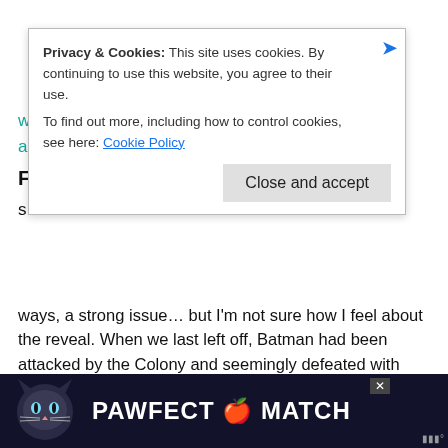Privacy & Cookies: This site uses cookies. By continuing to use this website, you agree to their use. To find out more, including how to control cookies, see here: Cookie Policy
ways, a strong issue… but I'm not sure how I feel about the reveal. When we last left off, Batman had been attacked by the Colony and seemingly defeated with ease. Now, Batwoman is meeting with Renee Montoya to discuss her hesitations with Batman's programs. Renee basically shuts her down and tells her she needs to trust herself and make her own choices–just before she gets the alert from Red Robin that something's wrong. I did like the little glimpses of everyone's lives in their off time (especially where Cass likes to hang out), but once they get back to the Belfry, it's all action.
[Figure (screenshot): Bottom advertisement banner showing 'PAWFECT MATCH' with a cat graphic on dark background]